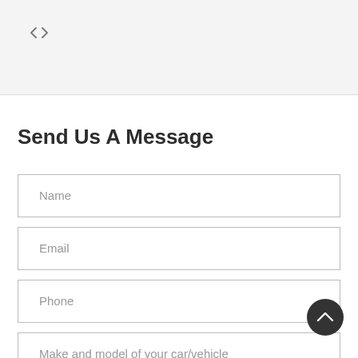[Figure (other): Code bracket icon in top navigation bar area]
Send Us A Message
Name
Email
Phone
Make and model of your car/vehicle